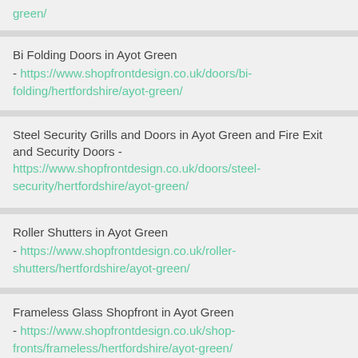green/
Bi Folding Doors in Ayot Green - https://www.shopfrontdesign.co.uk/doors/bi-folding/hertfordshire/ayot-green/
Steel Security Grills and Doors in Ayot Green and Fire Exit and Security Doors - https://www.shopfrontdesign.co.uk/doors/steel-security/hertfordshire/ayot-green/
Roller Shutters in Ayot Green - https://www.shopfrontdesign.co.uk/roller-shutters/hertfordshire/ayot-green/
Frameless Glass Shopfront in Ayot Green - https://www.shopfrontdesign.co.uk/shop-fronts/frameless/hertfordshire/ayot-green/